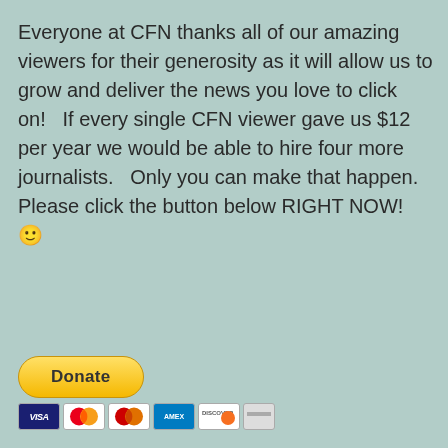Everyone at CFN thanks all of our amazing viewers for their generosity as it will allow us to grow and deliver the news you love to click on!   If every single CFN viewer gave us $12 per year we would be able to hire four more journalists.   Only you can make that happen.  Please click the button below RIGHT NOW!   🙂
[Figure (other): A yellow PayPal Donate button followed by a row of payment method card icons (Visa, Mastercard, Mastercard red, American Express, Discover, and one more).]